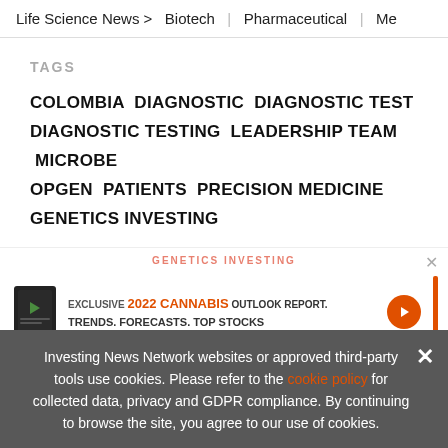Life Science News > Biotech | Pharmaceutical | Me...
TAGS
COLOMBIA  DIAGNOSTIC  DIAGNOSTIC TEST  DIAGNOSTIC TESTING  LEADERSHIP TEAM  MICROBE  OPGEN  PATIENTS  PRECISION MEDICINE  GENETICS INVESTING
[Figure (other): Advertisement banner: Exclusive 2022 Cannabis Outlook Report. Trends. Forecasts. Top Stocks. with orange arrow and book icon.]
Investing News Network websites or approved third-party tools use cookies. Please refer to the cookie policy for collected data, privacy and GDPR compliance. By continuing to browse the site, you agree to our use of cookies.